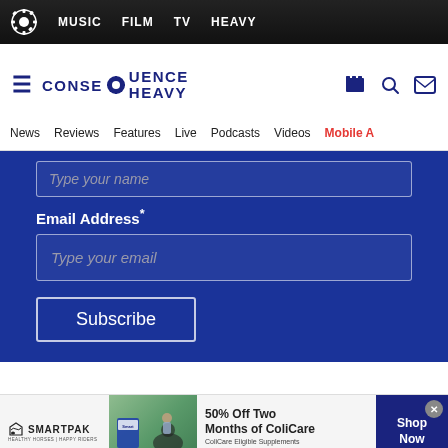MUSIC  FILM  TV  HEAVY
[Figure (logo): Consequence Heavy website logo with gear icon and text CONSEQUENCE HEAVY]
News  Reviews  Features  Live  Podcasts  Videos  Mobile A
Type your name
Email Address*
Type your email
Subscribe
[Figure (screenshot): SmartPak advertisement: 50% Off Two Months of ColiCare, ColiCare Eligible Supplements, CODE: COLICARE10, Shop Now button]